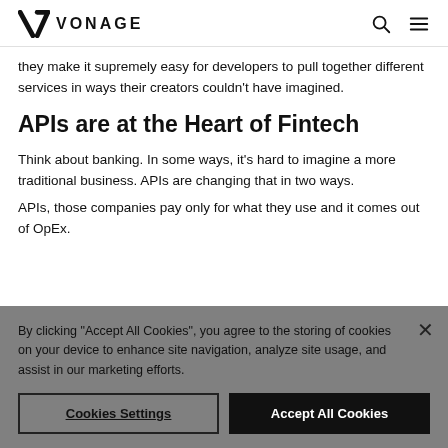VONAGE
they make it supremely easy for developers to pull together different services in ways their creators couldn't have imagined.
APIs are at the Heart of Fintech
Think about banking. In some ways, it's hard to imagine a more traditional business. APIs are changing that in two ways.
By clicking "Accept All Cookies", you agree to the storing of cookies on your device to enhance site navigation, analyze site usage, and assist in our marketing efforts.
APIs, those companies pay only for what they use and it comes out of OpEx.